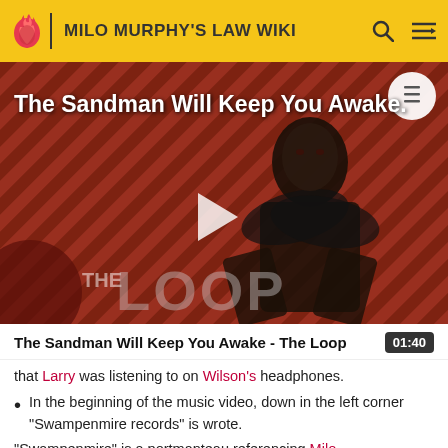MILO MURPHY'S LAW WIKI
[Figure (screenshot): Video thumbnail for 'The Sandman Will Keep You Awake - The Loop' showing a figure in black against a red/black diagonal striped background with THE LOOP text overlay and a play button]
The Sandman Will Keep You Awake - The Loop  01:40
that Larry was listening to on Wilson's headphones.
In the beginning of the music video, down in the left corner "Swampenmire records" is wrote.
"Swampenmire" is a portmanteau referencing Milo